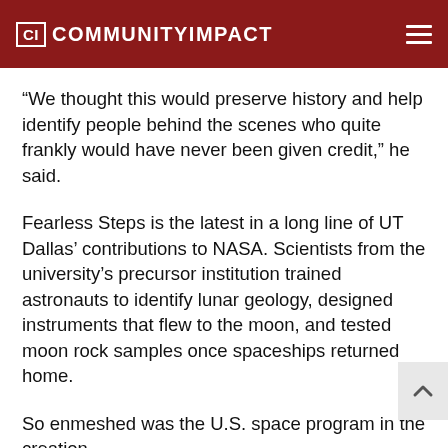CI COMMUNITYIMPACT
“We thought this would preserve history and help identify people behind the scenes who quite frankly would have never been given credit,” he said.
Fearless Steps is the latest in a long line of UT Dallas’ contributions to NASA. Scientists from the university’s precursor institution trained astronauts to identify lunar geology, designed instruments that flew to the moon, and tested moon rock samples once spaceships returned home.
So enmeshed was the U.S. space program in the creation